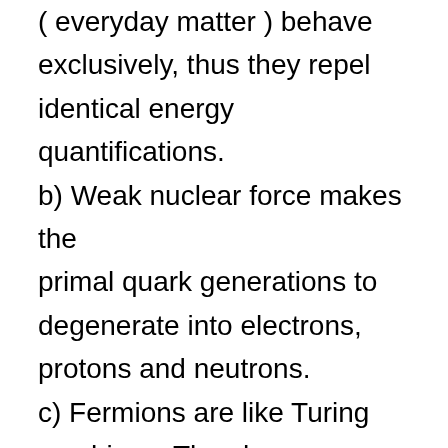( everyday matter ) behave exclusively, thus they repel identical energy quantifications. b) Weak nuclear force makes the primal quark generations to degenerate into electrons, protons and neutrons. c) Fermions are like Turing machines: They have relativity (inertial mass) and increasing complexity via quantifiable energy states. d) Bosons are signals: They only possess a group-identify, so to